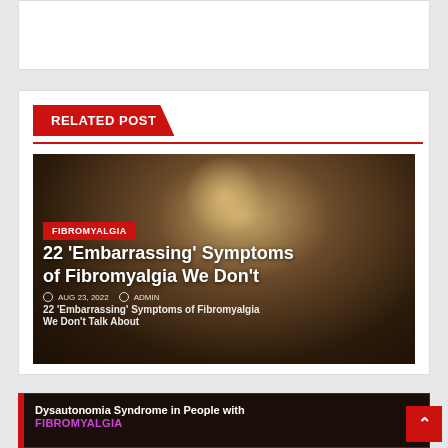[Figure (screenshot): White advertisement/banner box at top of page]
RELATED POST
[Figure (photo): Dark moody photo of a person's face with glowing eyes, overlaid with fibromyalgia article card showing title '22 Embarrassing Symptoms of Fibromyalgia We Don't Talk About', dated AUG 23, 2022, by ADMIN, with FIBROMYALGIA category tag]
22 ‘Embarrassing’ Symptoms of Fibromyalgia We Don’t
AUG 23, 2022 · ADMIN
22 Embarrassing Symptoms of Fibromyalgia We Don't Talk About
[Figure (screenshot): Bottom article card: Dysautonomia Syndrome in People with FIBROMYALGIA, dark background with magenta/purple fibromyalgia text]